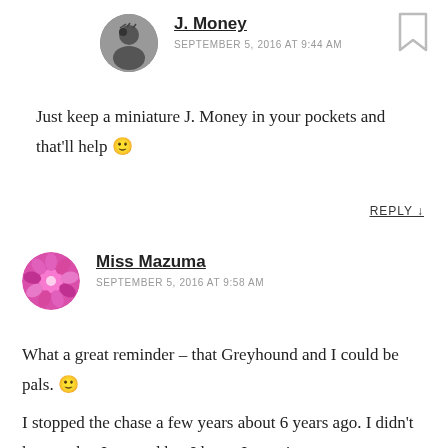[Figure (photo): Circular avatar photo of J. Money in black and white]
J. Money
SEPTEMBER 5, 2016 AT 9:44 AM
[Figure (illustration): Bookmark icon outline in top-right corner]
Just keep a miniature J. Money in your pockets and that'll help 🙂
REPLY ↓
[Figure (photo): Circular avatar photo of Miss Mazuma showing pink/magenta flower]
Miss Mazuma
SEPTEMBER 5, 2016 AT 9:58 AM
What a great reminder – that Greyhound and I could be pals. 🙂
I stopped the chase a few years about 6 years ago. I didn't know what I wanted but I knew I wasn't